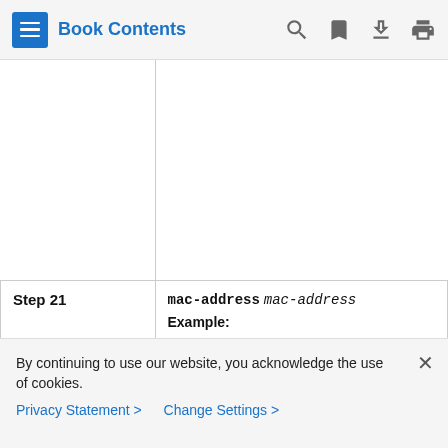Book Contents
| Step | Command / Description |
| --- | --- |
|  |  |
| Step 21 | mac-address mac-address
Example:
Router(config-ephone)# mac-address 0(truncated) |
By continuing to use our website, you acknowledge the use of cookies.
Privacy Statement > Change Settings >